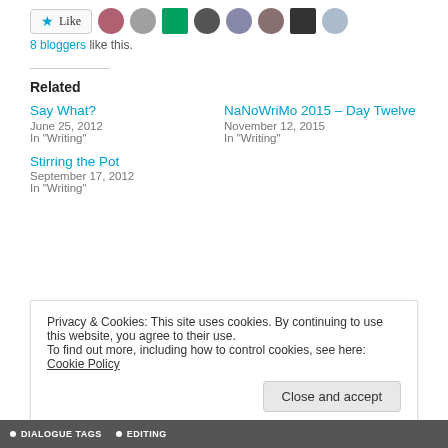[Figure (other): Like button with star icon and 8 blogger avatars]
8 bloggers like this.
Related
Say What?
June 25, 2012
In "Writing"
NaNoWriMo 2015 – Day Twelve
November 12, 2015
In "Writing"
Stirring the Pot
September 17, 2012
In "Writing"
Privacy & Cookies: This site uses cookies. By continuing to use this website, you agree to their use.
To find out more, including how to control cookies, see here: Cookie Policy
Close and accept
DIALOGUE TAGS · EDITING